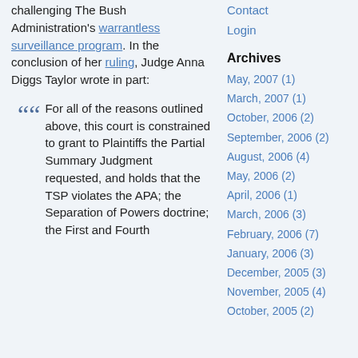challenging The Bush Administration's warrantless surveillance program. In the conclusion of her ruling, Judge Anna Diggs Taylor wrote in part:
For all of the reasons outlined above, this court is constrained to grant to Plaintiffs the Partial Summary Judgment requested, and holds that the TSP violates the APA; the Separation of Powers doctrine; the First and Fourth
Contact
Login
Archives
May, 2007 (1)
March, 2007 (1)
October, 2006 (2)
September, 2006 (2)
August, 2006 (4)
May, 2006 (2)
April, 2006 (1)
March, 2006 (3)
February, 2006 (7)
January, 2006 (3)
December, 2005 (3)
November, 2005 (4)
October, 2005 (2)